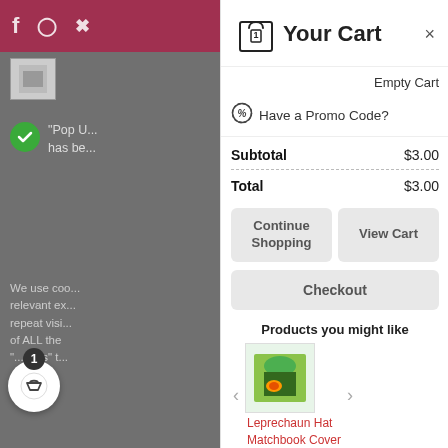[Figure (screenshot): Left panel: blurred website background with social icons bar (Facebook, Instagram, Pinterest), a small image thumbnail, a green checkmark notification saying 'Pop U... has be...', and body text about cookies. A floating cart badge widget with number 1 and basket icon is at the bottom.]
Your Cart
Empty Cart
Have a Promo Code?
|  |  |
| --- | --- |
| Subtotal | $3.00 |
| Total | $3.00 |
Continue Shopping
View Cart
Checkout
Products you might like
Leprechaun Hat Matchbook Cover